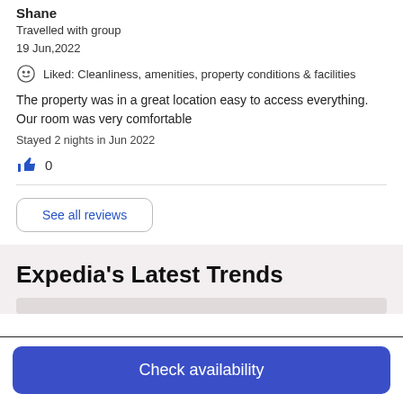Shane
Travelled with group
19 Jun,2022
Liked: Cleanliness, amenities, property conditions & facilities
The property was in a great location easy to access everything. Our room was very comfortable
Stayed 2 nights in Jun 2022
0
See all reviews
Expedia's Latest Trends
Check availability